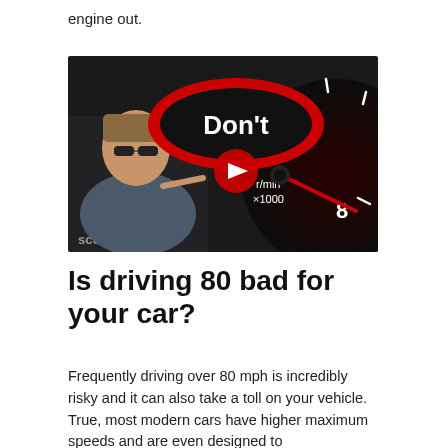engine out.
[Figure (screenshot): YouTube video thumbnail showing a man with long hair and sunglasses pointing at a tachometer gauge redlined near 8, with a large red oval speech bubble saying "Don't" and the YouTube play button in the center. Channel name 'scotty' visible in the lower left. Gauge shows r/min x1000 markings at 7 and 8.]
Is driving 80 bad for your car?
Frequently driving over 80 mph is incredibly risky and it can also take a toll on your vehicle. True, most modern cars have higher maximum speeds and are even designed to